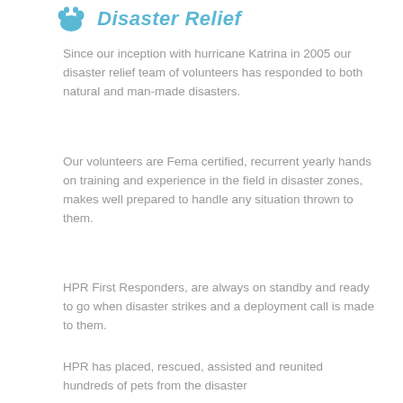Disaster Relief
Since our inception with hurricane Katrina in 2005 our disaster relief team of volunteers has responded to both natural and man-made disasters.
Our volunteers are Fema certified, recurrent yearly hands on training and experience in the field in disaster zones, makes well prepared to handle any situation thrown to them.
HPR First Responders, are always on standby and ready to go when disaster strikes and a deployment call is made to them.
HPR has placed, rescued, assisted and reunited hundreds of pets from the disaster zones all over the country.